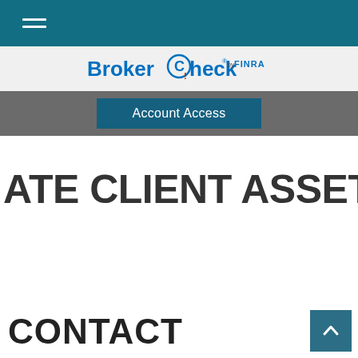[Figure (screenshot): Top navigation bar with hamburger menu icon on teal background]
[Figure (logo): BrokerCheck by FINRA logo on light gray background]
Account Access
ATE CLIENT ASSET MANAGEM
CONTACT